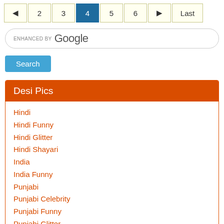◄ 2 3 4 5 6 ► Last
[Figure (screenshot): Google enhanced search box with Search button]
Desi Pics
Hindi
Hindi Funny
Hindi Glitter
Hindi Shayari
India
India Funny
Punjabi
Punjabi Celebrity
Punjabi Funny
Punjabi Glitter
Punjabi Sad